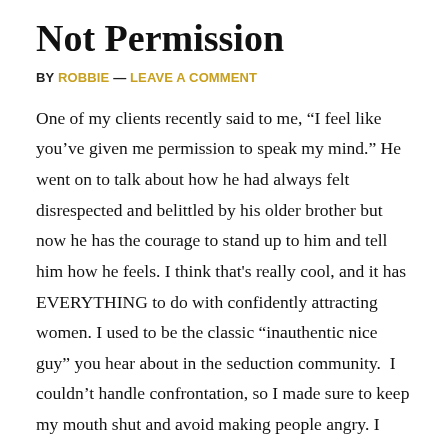Not Permission
BY ROBBIE — LEAVE A COMMENT
One of my clients recently said to me, “I feel like you’ve given me permission to speak my mind.” He went on to talk about how he had always felt disrespected and belittled by his older brother but now he has the courage to stand up to him and tell him how he feels. I think that’s really cool, and it has EVERYTHING to do with confidently attracting women. I used to be the classic “inauthentic nice guy” you hear about in the seduction community. I couldn’t handle confrontation, so I made sure to keep my mouth shut and avoid making people angry. I thought this